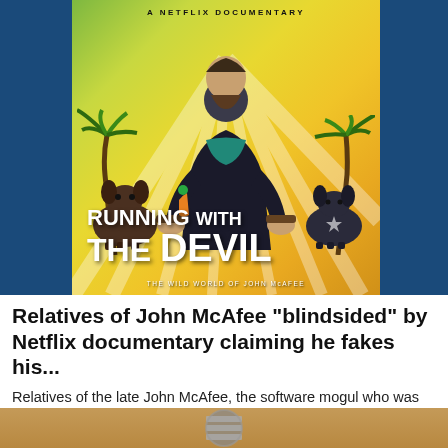[Figure (photo): Netflix documentary poster 'Running with the Devil: The Wild World of John McAfee'. Shows a man sitting in a chair flanked by two dogs, with palm trees in the background, tropical themed poster with yellow-green gradient. Text reads 'A NETFLIX DOCUMENTARY' at top, 'RUNNING WITH THE DEVIL' large in center, 'THE WILD WORLD OF JOHN MCAFEE' at bottom.]
Relatives of John McAfee "blindsided" by Netflix documentary claiming he fakes his...
Relatives of the late John McAfee, the software mogul who was found hanging by his neck in a prison cell in Spain last ...
BreakingBelizeNews
[Figure (photo): Bottom partial preview of another article image showing what appears to be a metallic screw or bolt on a brown/tan background, partially cropped.]